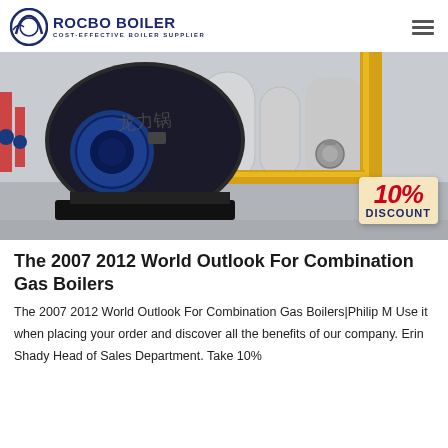ROCBO BOILER — COST-EFFECTIVE BOILER SUPPLIER
[Figure (photo): Industrial boiler room with a large dark cylindrical boiler unit and yellow gas pipes, with a 10% DISCOUNT badge overlay in the bottom-right corner.]
The 2007 2012 World Outlook For Combination Gas Boilers
The 2007 2012 World Outlook For Combination Gas Boilers|Philip M Use it when placing your order and discover all the benefits of our company. Erin Shady Head of Sales Department. Take 10%